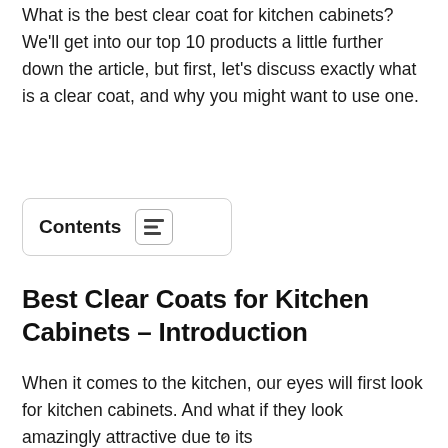What is the best clear coat for kitchen cabinets? We'll get into our top 10 products a little further down the article, but first, let's discuss exactly what is a clear coat, and why you might want to use one.
Contents
Best Clear Coats for Kitchen Cabinets – Introduction
When it comes to the kitchen, our eyes will first look for kitchen cabinets. And what if they look amazingly attractive due to its